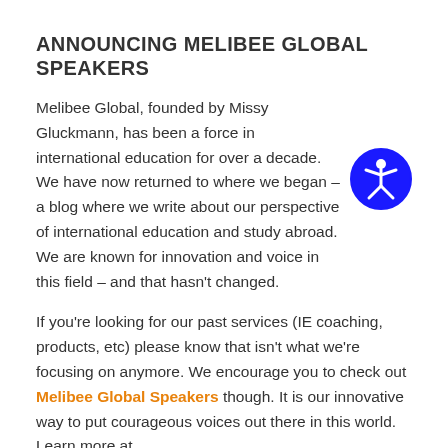ANNOUNCING MELIBEE GLOBAL SPEAKERS
Melibee Global, founded by Missy Gluckmann, has been a force in international education for over a decade. We have now returned to where we began – a blog where we write about our perspective of international education and study abroad. We are known for innovation and voice in this field – and that hasn't changed.
[Figure (illustration): Blue circle accessibility icon with a white stylized human figure]
If you're looking for our past services (IE coaching, products, etc) please know that isn't what we're focusing on anymore. We encourage you to check out Melibee Global Speakers though. It is our innovative way to put courageous voices out there in this world. Learn more at https://melibeeglobalspeakers.com
MELIBEE GLOBAL SPEAKERS